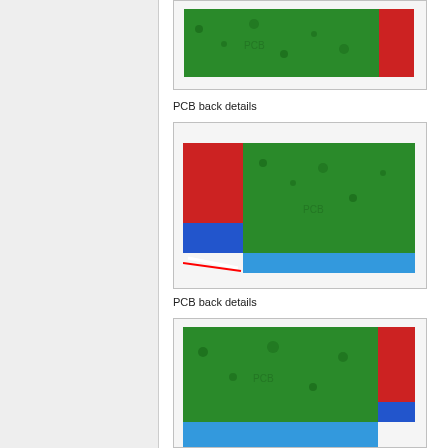[Figure (photo): PCB back detail photo showing green circuit board with red area at right edge, partially cropped at top]
PCB back details
[Figure (photo): PCB back detail photo showing green circuit board with red rectangle at left, blue rectangle at bottom left, diagonal slash/wire elements]
PCB back details
[Figure (photo): PCB back detail photo showing green circuit board with red area at right, small blue area at bottom right]